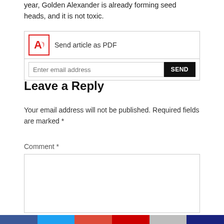year, Golden Alexander is already forming seed heads, and it is not toxic.
[Figure (infographic): Send article as PDF widget with PDF icon, email input field and SEND button]
Leave a Reply
Your email address will not be published. Required fields are marked *
Comment *
[Figure (screenshot): Comment text area input box]
Social share bar with colored blocks: Facebook, Twitter, Google+, LinkedIn, Pinterest, Email